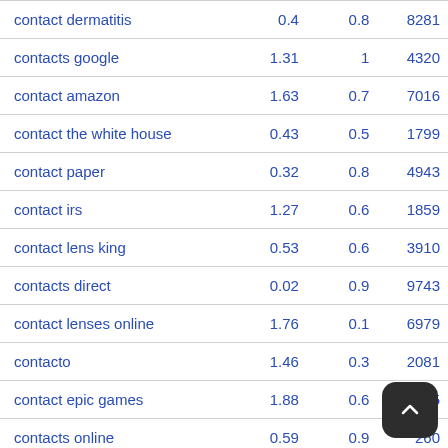| keyword | col1 | col2 | col3 |
| --- | --- | --- | --- |
| contact dermatitis | 0.4 | 0.8 | 8281 |
| contacts google | 1.31 | 1 | 4320 |
| contact amazon | 1.63 | 0.7 | 7016 |
| contact the white house | 0.43 | 0.5 | 1799 |
| contact paper | 0.32 | 0.8 | 4943 |
| contact irs | 1.27 | 0.6 | 1859 |
| contact lens king | 0.53 | 0.6 | 3910 |
| contacts direct | 0.02 | 0.9 | 9743 |
| contact lenses online | 1.76 | 0.1 | 6979 |
| contacto | 1.46 | 0.3 | 2081 |
| contact epic games | 1.88 | 0.6 | 4835 |
| contacts online | 0.59 | 0.9 | 260... |